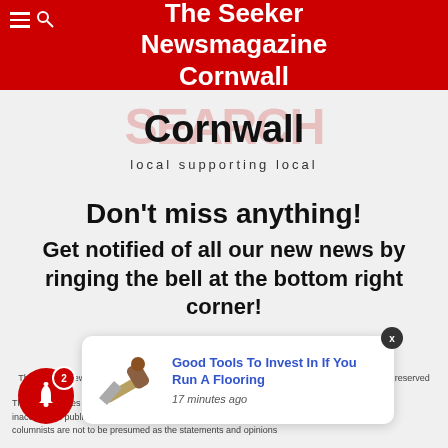The Seeker Newsmagazine Cornwall
[Figure (logo): Cornwall Seeker logo with red watermark text and tagline 'local supporting local']
Don't miss anything!
Get notified of all our new news by ringing the bell at the bottom right corner!
The Seeker Newspaper is located at 327 Second Street E., Cornwall, ON K6H 1Y8 – All rights reserved
The Seeker does not accept responsibility for errors, misprints or inaccuracies published within. The opinions and statements of our columnists are not to be presumed as the statements and opinions
[Figure (screenshot): Notification popup showing 'Good Tools To Invest In If You Run A Flooring' published 17 minutes ago, with a small image of a flooring trowel tool]
[Figure (illustration): Red notification bell button with badge showing count 2]